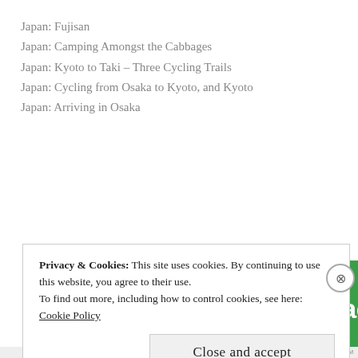Japan: Fujisan
Japan: Camping Amongst the Cabbages
Japan: Kyoto to Taki – Three Cycling Trails
Japan: Cycling from Osaka to Kyoto, and Kyoto
Japan: Arriving in Osaka
Advertisements
[Figure (logo): Jetpack logo on green background — circular lightning bolt icon with 'Jetpack' text in white]
Privacy & Cookies: This site uses cookies. By continuing to use this website, you agree to their use.
To find out more, including how to control cookies, see here:
Cookie Policy
Close and accept